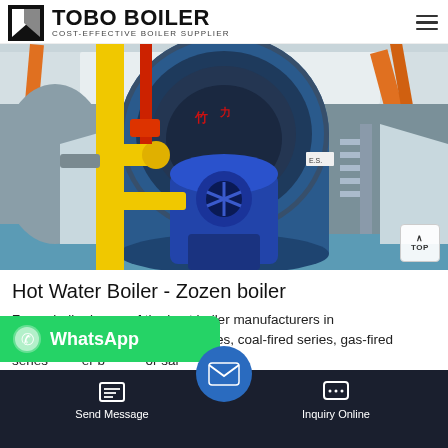TOBO BOILER — COST-EFFECTIVE BOILER SUPPLIER
[Figure (photo): Industrial gas-fired hot water boiler in a factory setting. A large blue cylindrical boiler body with a blue burner assembly on front. Yellow pipework on the left, red pipework visible. White walls and ceiling with orange structural elements. Blue floor. Chinese characters visible on the boiler body.]
Hot Water Boiler - Zozen boiler
Zozen boiler is one of the best boiler manufacturers in China, [offering oil-fired] series, coal-fired series, gas-fired series [and other] boiler [types] for sal[e]...
[Figure (screenshot): WhatsApp contact button overlay — green rounded rectangle with WhatsApp phone icon and 'WhatsApp' text in white]
Send Message | Inquiry Online